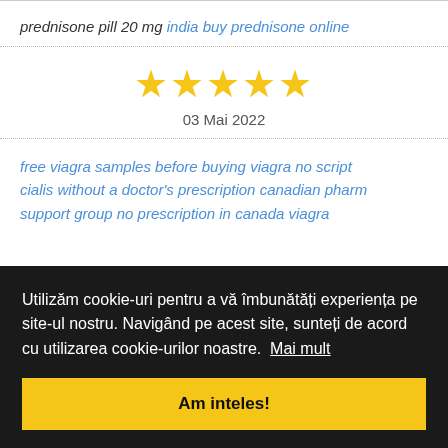prednisone pill 20 mg india buy prednisone online
[Figure (other): Five yellow star rating icons]
03 Mai 2022
free viagra samples before buying viagra no script cialis without a doctor's prescription canadian pharm support group no prescription in canada viagra
Utilizăm cookie-uri pentru a vă îmbunătăți experiența pe site-ul nostru. Navigând pe acest site, sunteți de acord cu utilizarea cookie-urilor noastre.  Mai mult
Am inteles!